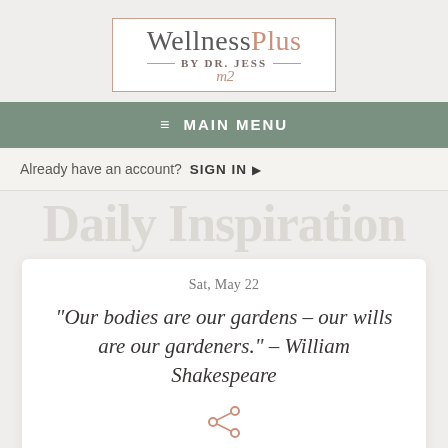[Figure (logo): WellnessPlus by DR. JESS logo with salmon/rose border box and signature]
☰ MAIN MENU
Already have an account? SIGN IN ▶
Daily Inspiration
Sat, May 22
“Our bodies are our gardens – our wills are our gardeners.” – William Shakespeare